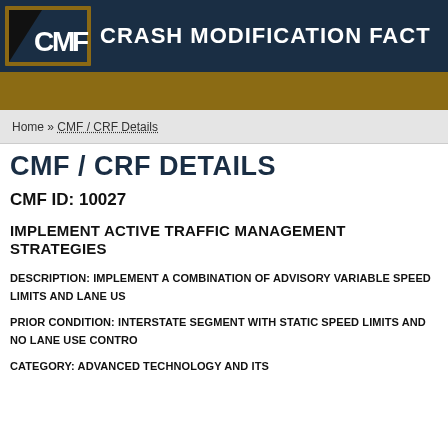CMF CRASH MODIFICATION FACT
Home » CMF / CRF Details
CMF / CRF DETAILS
CMF ID: 10027
IMPLEMENT ACTIVE TRAFFIC MANAGEMENT STRATEGIES
DESCRIPTION: IMPLEMENT A COMBINATION OF ADVISORY VARIABLE SPEED LIMITS AND LANE US
PRIOR CONDITION: INTERSTATE SEGMENT WITH STATIC SPEED LIMITS AND NO LANE USE CONTRO
CATEGORY: ADVANCED TECHNOLOGY AND ITS